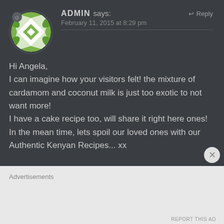[Figure (illustration): Green and white geometric quilt-pattern avatar icon in a circle with a small user badge]
ADMIN says:
↩ Reply
February 11, 2015 at 8:29 pm
Hi Angela,
I can imagine how your visitors felt! the mixture of cardamom and coconut milk is just too exotic to not want more!
I have a cake recipe too, will share it right here ones!
In the mean time, lets spoil our loved ones with our Authentic Kenyan Recipes... xx
Advertisements